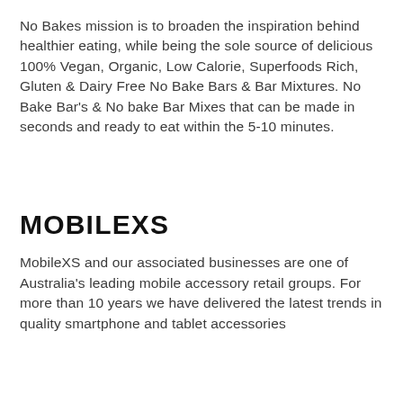No Bakes mission is to broaden the inspiration behind healthier eating, while being the sole source of delicious 100% Vegan, Organic, Low Calorie, Superfoods Rich, Gluten & Dairy Free No Bake Bars & Bar Mixtures. No Bake Bar's & No bake Bar Mixes that can be made in seconds and ready to eat within the 5-10 minutes.
MOBILEXS
MobileXS and our associated businesses are one of Australia's leading mobile accessory retail groups. For more than 10 years we have delivered the latest trends in quality smartphone and tablet accessories